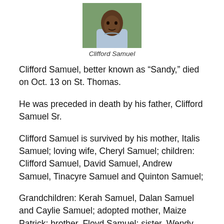[Figure (photo): Portrait photo of Clifford Samuel, a man wearing a light blue shirt, outdoors with green background.]
Clifford Samuel
Clifford Samuel, better known as “Sandy,” died on Oct. 13 on St. Thomas.
He was preceded in death by his father, Clifford Samuel Sr.
Clifford Samuel is survived by his mother, Italis Samuel; loving wife, Cheryl Samuel; children: Clifford Samuel, David Samuel, Andrew Samuel, Tinacyre Samuel and Quinton Samuel;
Grandchildren: Kerah Samuel, Dalan Samuel and Caylie Samuel; adopted mother, Maize Patrick; brother, Floyd Samuel; sister, Wendy Samuel; and brothers and sisters-in-law: Jerome Joseph, Steve Joseph, Devon Joseph, Debbie